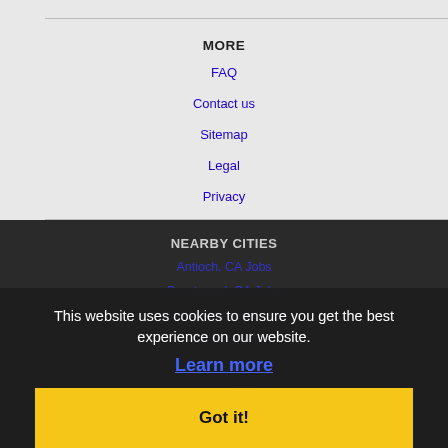MORE
FAQ
Contact us
Sitemap
Legal
Privacy
NEARBY CITIES
Antioch, CA Jobs
Brentwood, CA Jobs
Castro Valley, CA Jobs
Ceres, CA Jobs
Clovis, CA Jobs
Concord, CA Jobs
Cupertino, CA Jobs
Danville, CA Jobs
This website uses cookies to ensure you get the best experience on our website. Learn more
Got it!